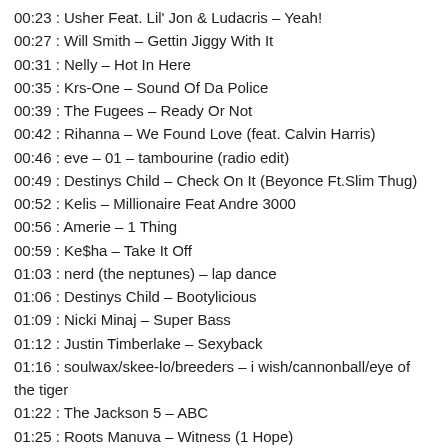00:23 : Usher Feat. Lil' Jon & Ludacris – Yeah!
00:27 : Will Smith – Gettin Jiggy With It
00:31 : Nelly – Hot In Here
00:35 : Krs-One – Sound Of Da Police
00:39 : The Fugees – Ready Or Not
00:42 : Rihanna – We Found Love (feat. Calvin Harris)
00:46 : eve – 01 – tambourine (radio edit)
00:49 : Destinys Child – Check On It (Beyonce Ft.Slim Thug)
00:52 : Kelis – Millionaire Feat Andre 3000
00:56 : Amerie – 1 Thing
00:59 : Ke$ha – Take It Off
01:03 : nerd (the neptunes) – lap dance
01:06 : Destinys Child – Bootylicious
01:09 : Nicki Minaj – Super Bass
01:12 : Justin Timberlake – Sexyback
01:16 : soulwax/skee-lo/breeders – i wish/cannonball/eye of the tiger
01:22 : The Jackson 5 – ABC
01:25 : Roots Manuva – Witness (1 Hope)